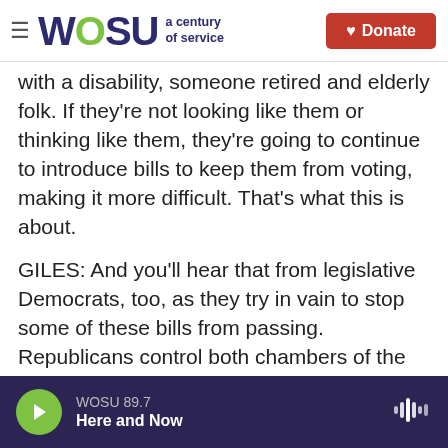WOSU a century of service | Donate
with a disability, someone retired and elderly folk. If they're not looking like them or thinking like them, they're going to continue to introduce bills to keep them from voting, making it more difficult. That's what this is about.
GILES: And you'll hear that from legislative Democrats, too, as they try in vain to stop some of these bills from passing. Republicans control both chambers of the legislature here.
FOWLER: And, Mary Louise, I would add here in Georgia, at least, it all goes back to 2018, when the then-secretary of state Brian Kemp ran for governor
WOSU 89.7 | Here and Now